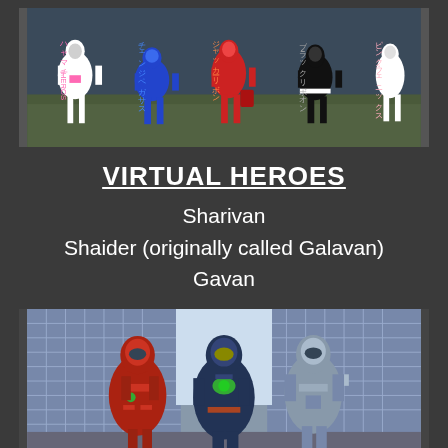[Figure (photo): Colorful Japanese tokusatsu heroes in spandex costumes posing, with Japanese text labels. Characters include white, blue, red, black/white, and pink heroes against an outdoor background.]
VIRTUAL HEROES
Sharivan
Shaider (originally called Galavan)
Gavan
[Figure (photo): Three armored space sheriff heroes standing together in front of a building. From left: red armored hero, blue/dark armored hero, and silver/grey armored hero.]